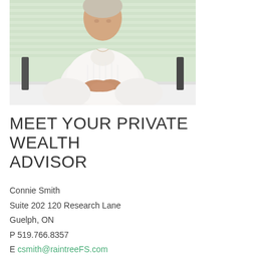[Figure (photo): Professional woman in white blouse seated at a white desk with hands clasped, with light green/white blinds in the background.]
MEET YOUR PRIVATE WEALTH ADVISOR
Connie Smith
Suite 202 120 Research Lane
Guelph, ON
P 519.766.8357
E csmith@raintreeFS.com